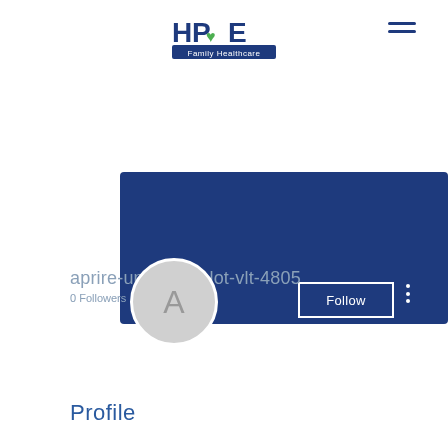[Figure (logo): HOPE Family Healthcare logo with heart icon]
[Figure (screenshot): User profile banner — solid dark blue rectangle with Follow button and three-dot menu, avatar circle with letter A]
aprire-una-sala-slot-vlt-4805
0 Followers • 0 Following
[Figure (other): Dropdown selector box with chevron]
Profile